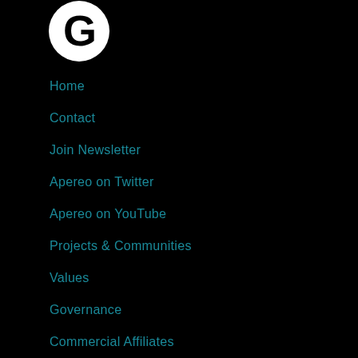[Figure (logo): Apereo logo: white circular icon with a stylized 'G' letterform on black background]
Home
Contact
Join Newsletter
Apereo on Twitter
Apereo on YouTube
Projects & Communities
Values
Governance
Commercial Affiliates
Incubation